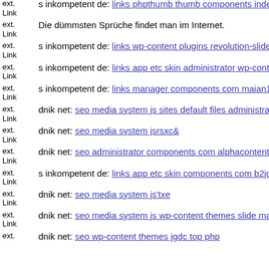ext. Link s inkompetent de: links phpthumb thumb components index ph
ext. Link Die dümmsten Sprüche findet man im Internet.
ext. Link s inkompetent de: links wp-content plugins revolution-slider te
ext. Link s inkompetent de: links app etc skin administrator wp-content p
ext. Link s inkompetent de: links manager components com maian15 cha
ext. Link dnik net: seo media system js sites default files administrator co
ext. Link dnik net: seo media system jsrsxc&
ext. Link dnik net: seo administrator components com alphacontent asset
ext. Link s inkompetent de: links app etc skin components com b2jconta
ext. Link dnik net: seo media system js'txe
ext. Link dnik net: seo media system js wp-content themes slide mail ink
ext. dnik net: seo wp-content themes jgdc top php